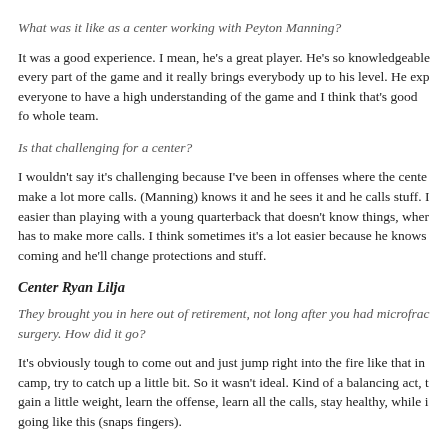What was it like as a center working with Peyton Manning?
It was a good experience. I mean, he's a great player. He's so knowledgeable every part of the game and it really brings everybody up to his level. He exp everyone to have a high understanding of the game and I think that's good fo whole team.
Is that challenging for a center?
I wouldn't say it's challenging because I've been in offenses where the cente make a lot more calls. (Manning) knows it and he sees it and he calls stuff. I easier than playing with a young quarterback that doesn't know things, wher has to make more calls. I think sometimes it's a lot easier because he knows coming and he'll change protections and stuff.
Center Ryan Lilja
They brought you in here out of retirement, not long after you had microfrac surgery. How did it go?
It's obviously tough to come out and just jump right into the fire like that in camp, try to catch up a little bit. So it wasn't ideal. Kind of a balancing act, t gain a little weight, learn the offense, learn all the calls, stay healthy, while i going like this (snaps fingers).
Jeff Saturday dropped something like 60 pounds after he retired last year. We